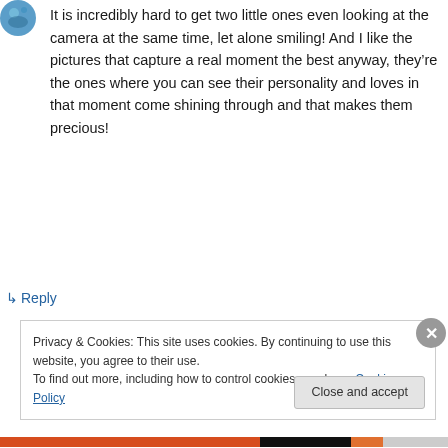[Figure (photo): Small circular avatar image of a person or globe, partially visible at top-left corner]
It is incredibly hard to get two little ones even looking at the camera at the same time, let alone smiling! And I like the pictures that capture a real moment the best anyway, they’re the ones where you can see their personality and loves in that moment come shining through and that makes them precious!
↳ Reply
Privacy & Cookies: This site uses cookies. By continuing to use this website, you agree to their use.
To find out more, including how to control cookies, see here: Cookie Policy
Close and accept